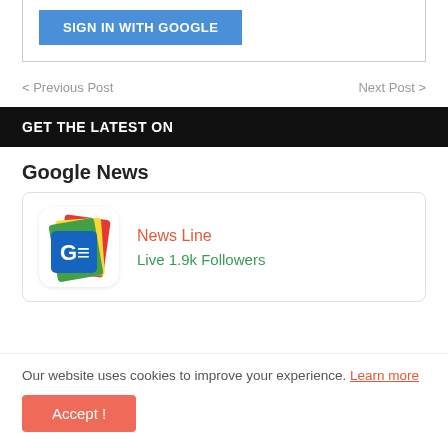[Figure (screenshot): Blue 'SIGN IN WITH GOOGLE' button inside a bordered box]
< Previous Post    Next Post >
GET THE LATEST ON
Google News
[Figure (logo): Google News app icon with colorful paper stack and GE logo]
News Line
Live 1.9k Followers
Our website uses cookies to improve your experience. Learn more
Accept !